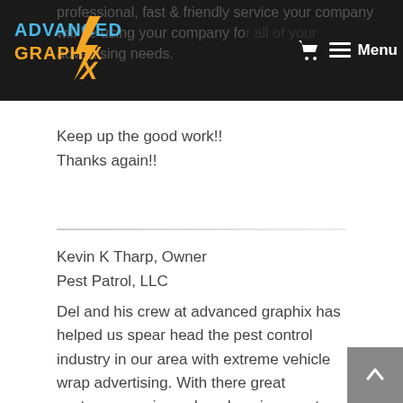[Figure (logo): Advanced Graphix logo with lightning bolt graphic, yellow and blue stylized text on dark navbar]
professional, fast & friendly service your company will be using your company for all of your advertising needs.
Keep up the good work!!
Thanks again!!
Kevin K Tharp, Owner
Pest Patrol, LLC
Del and his crew at advanced graphix has helped us spear head the pest control industry in our area with extreme vehicle wrap advertising. With there great customer service, relaxed environment, one on one customer service, advanced printing technology,